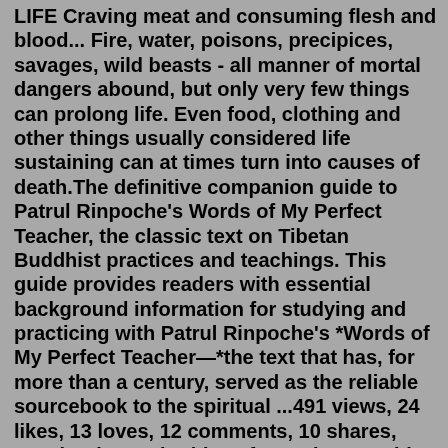LIFE Craving meat and consuming flesh and blood... Fire, water, poisons, precipices, savages, wild beasts - all manner of mortal dangers abound, but only very few things can prolong life. Even food, clothing and other things usually considered life sustaining can at times turn into causes of death.The definitive companion guide to Patrul Rinpoche's Words of My Perfect Teacher, the classic text on Tibetan Buddhist practices and teachings. This guide provides readers with essential background information for studying and practicing with Patrul Rinpoche's *Words of My Perfect Teacher—*the text that has, for more than a century, served as the reliable sourcebook to the spiritual ...491 views, 24 likes, 13 loves, 12 comments, 10 shares, Facebook Watch Videos from Dharma with Tongkhor: The Words of My Perfect Teacher [Chapter 4: the principle of cause and effect - 2. The effects...THE DEFECTS OF SAMSARAOnline Streaming (18 May - 1 June) Everyday:🔹 Session 1 09:00 - 10:30 (CEST)🔹 Session 2 11:00 - 11:30 (CEST)